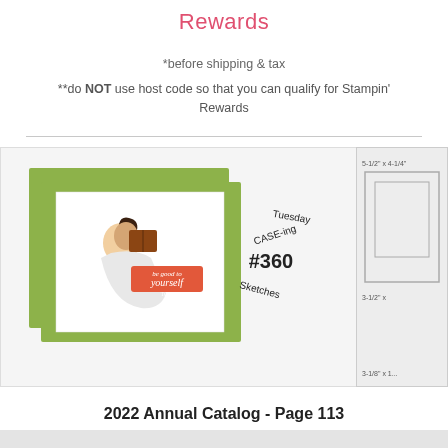Rewards
*before shipping & tax
**do NOT use host code so that you can qualify for Stampin' Rewards
[Figure (photo): Card craft image showing a green mat layered card with an illustrated woman reading, with an orange label reading 'be good to yourself too.' Next to the card is a circular stamp logo reading 'CASE-ing Tuesday #360 Sketches'. To the right is a partially visible card sketch/template panel showing dimensions like 5-1/2 x 4-1/4, 3-1/2 x, 3-1/8 x 1.]
2022 Annual Catalog - Page 113